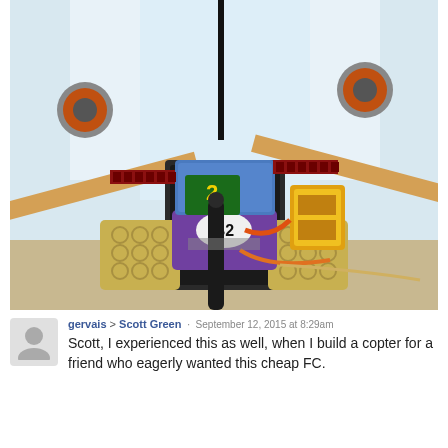[Figure (photo): Close-up photo of a multi-rotor drone/quadcopter frame with orange motor mounts, dark carbon fiber frame arms, LiPo batteries labeled 'B2', blue cloth, yellow electronic components, and wiring visible. Taken indoors near a window.]
gervais > Scott Green · September 12, 2015 at 8:29am
Scott, I experienced this as well, when I build a copter for a friend who eagerly wanted this cheap FC.